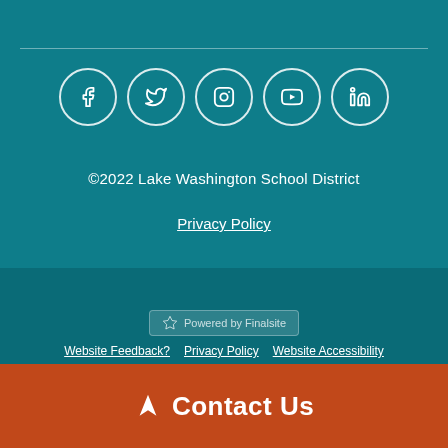[Figure (other): Social media icons in circles: Facebook, Twitter, Instagram, YouTube, LinkedIn]
©2022 Lake Washington School District
Privacy Policy
[Figure (logo): Powered by Finalsite badge]
Website Feedback? | Privacy Policy | Website Accessibility | Crisis Resources
Contact Us